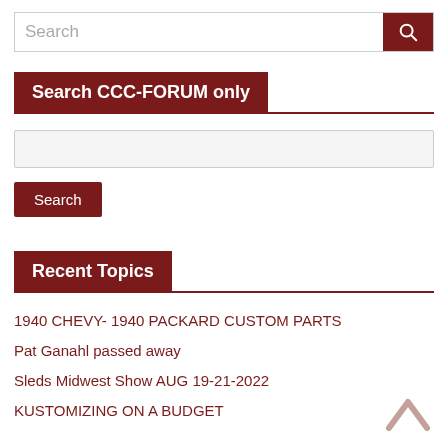[Figure (screenshot): Search bar input with dark red search button icon]
Search CCC-FORUM only
[Figure (screenshot): Forum search input box (light gray background)]
Search
Recent Topics
1940 CHEVY- 1940 PACKARD CUSTOM PARTS
Pat Ganahl passed away
Sleds Midwest Show AUG 19-21-2022
KUSTOMIZING ON A BUDGET